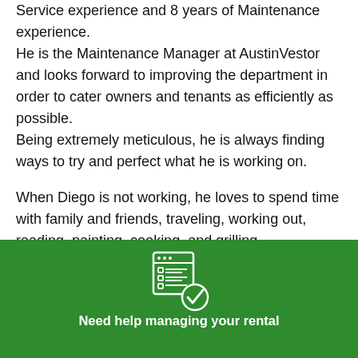Service experience and 8 years of Maintenance experience. He is the Maintenance Manager at AustinVestor and looks forward to improving the department in order to cater owners and tenants as efficiently as possible. Being extremely meticulous, he is always finding ways to try and perfect what he is working on.

When Diego is not working, he loves to spend time with family and friends, traveling, working out, reading, painting, cooking, and grilling.
[Figure (illustration): White icon of a checklist/browser window with a checkmark circle badge, on a green background]
Need help managing your rental